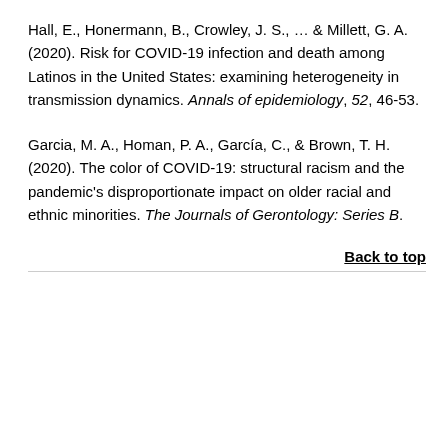Hall, E., Honermann, B., Crowley, J. S., ... & Millett, G. A. (2020). Risk for COVID-19 infection and death among Latinos in the United States: examining heterogeneity in transmission dynamics. Annals of epidemiology, 52, 46-53.
Garcia, M. A., Homan, P. A., García, C., & Brown, T. H. (2020). The color of COVID-19: structural racism and the pandemic's disproportionate impact on older racial and ethnic minorities. The Journals of Gerontology: Series B.
Back to top